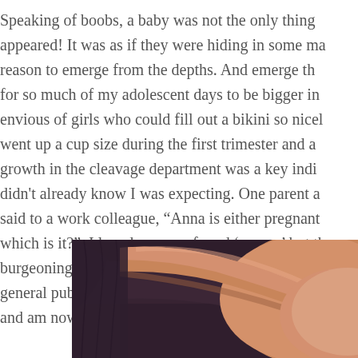Speaking of boobs, a baby was not the only thing appeared! It was as if they were hiding in some ma reason to emerge from the depths. And emerge th for so much of my adolescent days to be bigger in envious of girls who could fill out a bikini so nicel went up a cup size during the first trimester and a growth in the cleavage department was a key indi didn't already know I was expecting. One parent a said to a work colleague, "Anna is either pregnant which is it?". I loved my new found 'curves' but th burgeoning belly, and gradually {and thankfully} b general public! I soon developed a new found app and am now happy that they're slowly returning.
[Figure (photo): Close-up photo of a pregnant woman's belly and arm, wearing dark purple/maroon clothing, cropped at bottom of frame.]